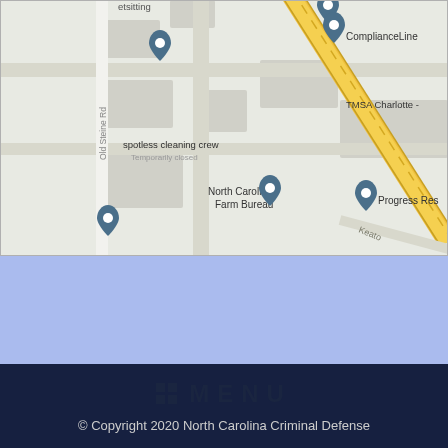[Figure (map): Google Maps view showing Charlotte, NC area with locations including ComplianceLine, TMSA Charlotte, spotless cleaning crew (Temporarily closed), North Carolina Farm Bureau, Progress Res, Urban Medspa & Weight Loss Center Charlotte, William Ficklen Dr, Chesterbrook Academy Preschool, ridges at Mallard apartment Homes, W.W.T.Harris Blvd road, Old Steine Rd, and Keaton road visible.]
MENU
© Copyright 2020 North Carolina Criminal Defense